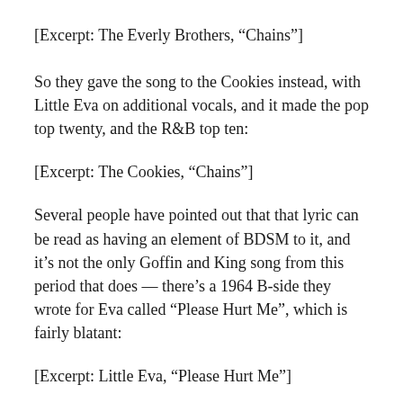[Excerpt: The Everly Brothers, “Chains”]
So they gave the song to the Cookies instead, with Little Eva on additional vocals, and it made the pop top twenty, and the R&B top ten:
[Excerpt: The Cookies, “Chains”]
Several people have pointed out that that lyric can be read as having an element of BDSM to it, and it’s not the only Goffin and King song from this period that does — there’s a 1964 B-side they wrote for Eva called “Please Hurt Me”, which is fairly blatant:
[Excerpt: Little Eva, “Please Hurt Me”]